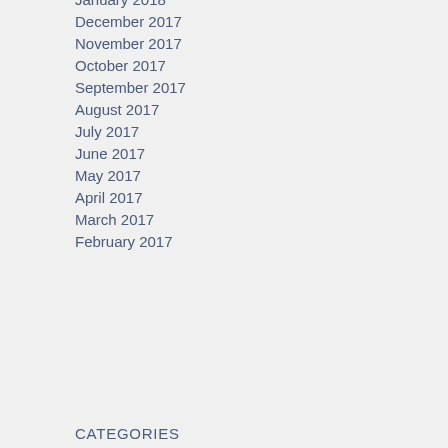January 2018
December 2017
November 2017
October 2017
September 2017
August 2017
July 2017
June 2017
May 2017
April 2017
March 2017
February 2017
CATEGORIES